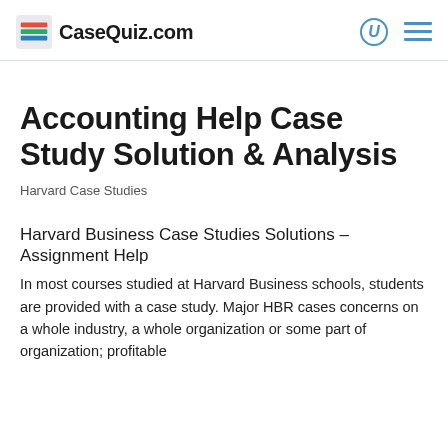[Figure (logo): CaseQuiz.com logo with colorful horizontal lines icon and bold text]
Accounting Help Case Study Solution & Analysis
Harvard Case Studies
Harvard Business Case Studies Solutions – Assignment Help
In most courses studied at Harvard Business schools, students are provided with a case study. Major HBR cases concerns on a whole industry, a whole organization or some part of organization; profitable